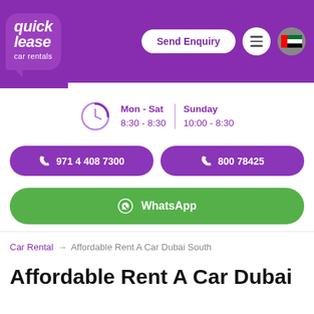[Figure (logo): Quick Lease car rentals logo in speech bubble on purple header]
Send Enquiry | Menu | UAE Flag
Mon - Sat 8:30 - 8:30 | Sunday 10:00 - 8:30
971 4 408 7300
800 78425
WhatsApp
Car Rental → Affordable Rent A Car Dubai South
Affordable Rent A Car Dubai